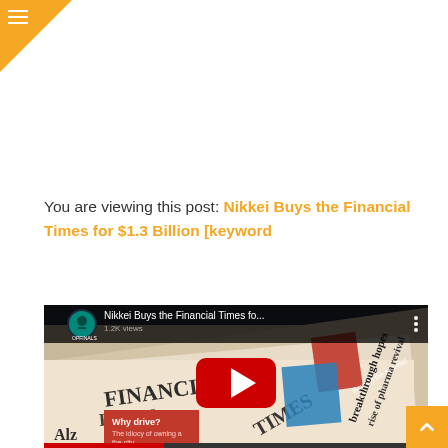[Figure (other): Orange corner triangle with white hamburger menu icon in top-left]
You are viewing this post: Nikkei Buys the Financial Times for $1.3 Billion [keyword
[Figure (screenshot): YouTube video thumbnail showing stacked Financial Times newspapers with title 'Nikkei Buys the Financial Times fo...' and a red YouTube play button in the center. The thumbnail shows newspaper headlines including 'FINANCIAL TIMES', 'Why drive?', 'Beyond the scandal', 'breakthrough hopes', 'rise of pharma revival'. A circular logo is visible in top-left of the video frame.]
[Figure (other): Orange scroll-to-top button with white upward chevron arrow in bottom-right corner]